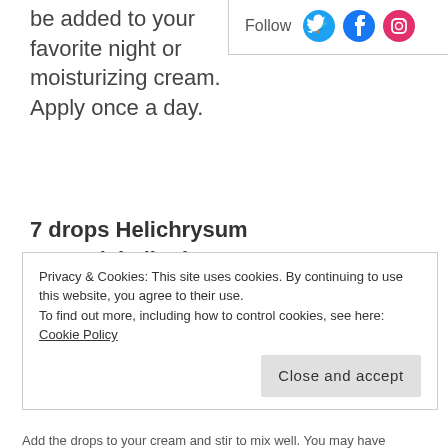be added to your favorite night or moisturizing cream. Apply once a day.
[Figure (infographic): Social media follow icons for Twitter (blue bird), Facebook (blue f), and Instagram (pink/red camera), with 'Follow' label]
7 drops Helichrysum essential oil, often called Everlast (ing)
Helichrysum Plant
Privacy & Cookies: This site uses cookies. By continuing to use this website, you agree to their use.
To find out more, including how to control cookies, see here: Cookie Policy
Close and accept
Add the drops to your cream and stir to mix well. You may have